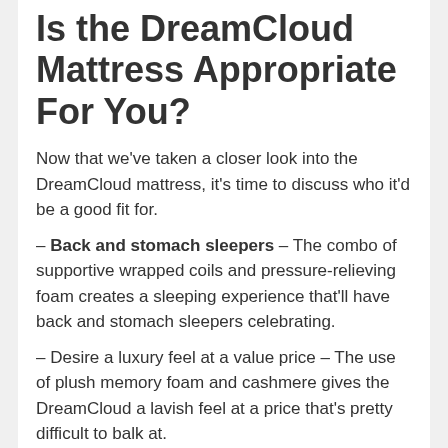Is the DreamCloud Mattress Appropriate For You?
Now that we've taken a closer look into the DreamCloud mattress, it's time to discuss who it'd be a good fit for.
– Back and stomach sleepers – The combo of supportive wrapped coils and pressure-relieving foam creates a sleeping experience that'll have back and stomach sleepers celebrating.
– Desire a luxury feel at a value price – The use of plush memory foam and cashmere gives the DreamCloud a lavish feel at a price that's pretty difficult to balk at.
– Couples – The individually wrapped coils are